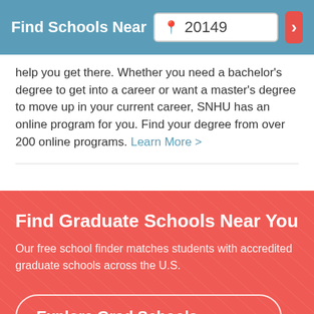Find Schools Near 20149
help you get there. Whether you need a bachelor's degree to get into a career or want a master's degree to move up in your current career, SNHU has an online program for you. Find your degree from over 200 online programs. Learn More >
Find Graduate Schools Near You
Our free school finder matches students with accredited graduate schools across the U.S.
Explore Grad Schools →